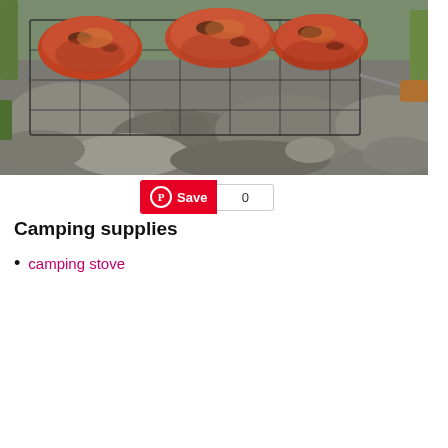[Figure (photo): Grilled meat pieces on a wire grill basket over rocks outdoors, with a wooden-handled grill tool.]
Save 0
Camping supplies
camping stove